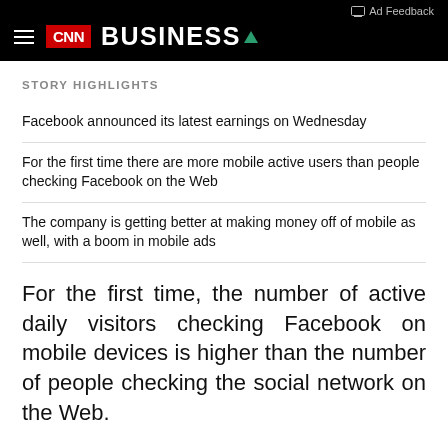CNN BUSINESS
STORY HIGHLIGHTS
Facebook announced its latest earnings on Wednesday
For the first time there are more mobile active users than people checking Facebook on the Web
The company is getting better at making money off of mobile as well, with a boom in mobile ads
For the first time, the number of active daily visitors checking Facebook on mobile devices is higher than the number of people checking the social network on the Web.